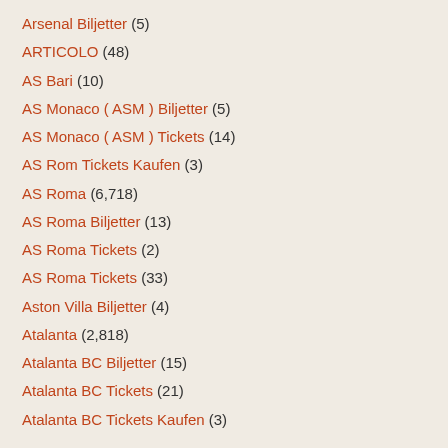Arsenal Biljetter (5)
ARTICOLO (48)
AS Bari (10)
AS Monaco ( ASM ) Biljetter (5)
AS Monaco ( ASM ) Tickets (14)
AS Rom Tickets Kaufen (3)
AS Roma (6,718)
AS Roma Biljetter (13)
AS Roma Tickets (2)
AS Roma Tickets (33)
Aston Villa Biljetter (4)
Atalanta (2,818)
Atalanta BC Biljetter (15)
Atalanta BC Tickets (21)
Atalanta BC Tickets Kaufen (3)